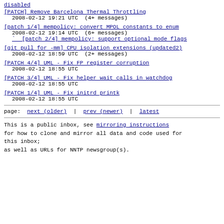disabled
[PATCH] Remove Barcelona Thermal Throttling
2008-02-12 19:21 UTC  (4+ messages)
[patch 1/4] mempolicy: convert MPOL constants to enum
2008-02-12 19:14 UTC  (6+ messages)
` [patch 2/4] mempolicy: support optional mode flags
[git pull for -mm] CPU isolation extensions (updated2)
2008-02-12 18:59 UTC  (2+ messages)
[PATCH 4/4] UML - Fix FP register corruption
2008-02-12 18:55 UTC
[PATCH 3/4] UML - Fix helper wait calls in watchdog
2008-02-12 18:55 UTC
[PATCH 1/4] UML - Fix initrd printk
2008-02-12 18:55 UTC
page:  next (older)  |  prev (newer)  |  latest
This is a public inbox, see mirroring instructions
for how to clone and mirror all data and code used for
this inbox;
as well as URLs for NNTP newsgroup(s).